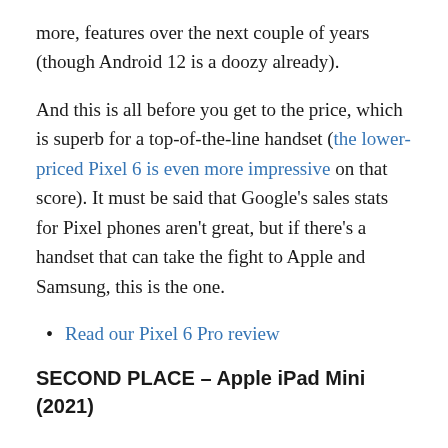more, features over the next couple of years (though Android 12 is a doozy already).
And this is all before you get to the price, which is superb for a top-of-the-line handset (the lower-priced Pixel 6 is even more impressive on that score). It must be said that Google’s sales stats for Pixel phones aren’t great, but if there’s a handset that can take the fight to Apple and Samsung, this is the one.
Read our Pixel 6 Pro review
SECOND PLACE – Apple iPad Mini (2021)